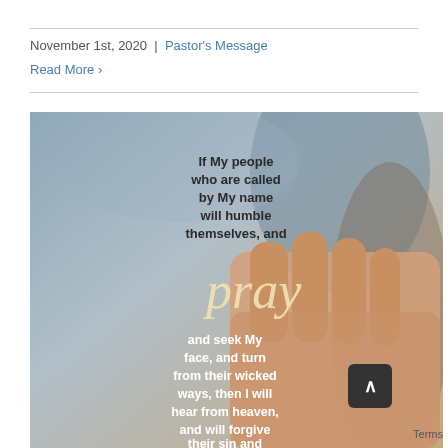November 1st, 2020 | Pastor's Message
Read More >
[Figure (photo): Image of clasped hands in prayer with overlaid scripture text: 'If My people who are called by My name will humble themselves, and pray and seek My face, and turn from their wicked ways, then I will hear from heaven, and will forgive their sin and']